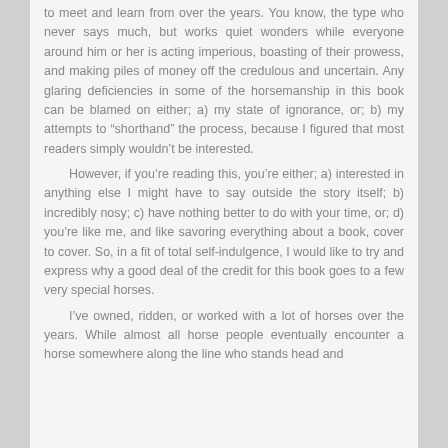to meet and learn from over the years.  You know, the type who never says much, but works quiet wonders while everyone around him or her is acting imperious, boasting of their prowess, and making piles of money off the credulous and uncertain.   Any glaring deficiencies in some of the horsemanship in this book can be blamed on either; a) my state of ignorance, or; b) my attempts to "shorthand" the process, because I figured that most readers simply wouldn't be interested.

   However, if you're reading this, you're either; a) interested in anything else I might have to say outside the story itself; b) incredibly nosy; c) have nothing better to do with your time, or; d) you're like me, and like savoring everything about a book, cover to cover.  So, in a fit of total self-indulgence, I would like to try and express why a good deal of the credit for this book goes to a few very special horses.

   I've owned, ridden, or worked with a lot of horses over the years.  While almost all horse people eventually encounter a horse somewhere along the line who stands head and